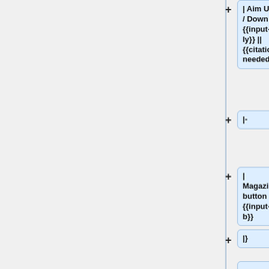| Aim Up / Down || {{input-ly}} || {{citation needed}}
|-
| Magazine button || {{input-b}}
|}
There is no right thumbstick, thumbstick presses, black/white button or trigger buttons {{citation needed}}